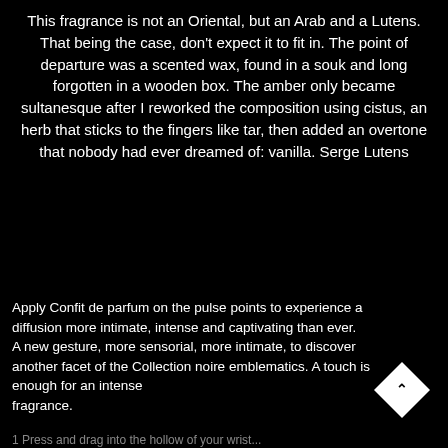This fragrance is not an Oriental, but an Arab and a Lutens. That being the case, don't expect it to fit in. The point of departure was a scented wax, found in a souk and long forgotten in a wooden box. The amber only became sultanesque after I reworked the composition using cistus, an herb that sticks to the fingers like tar, then added an overtone that nobody had ever dreamed of: vanilla. Serge Lutens
Apply Confit de parfum on the pulse points to experience a diffusion more intimate, intense and captivating than ever.
A new gesture, more sensorial, more intimate, to discover another facet of the Collection noire emblematics. A touch is enough for an intense fragrance.
1 Press and drag into the hollow of your wrist...